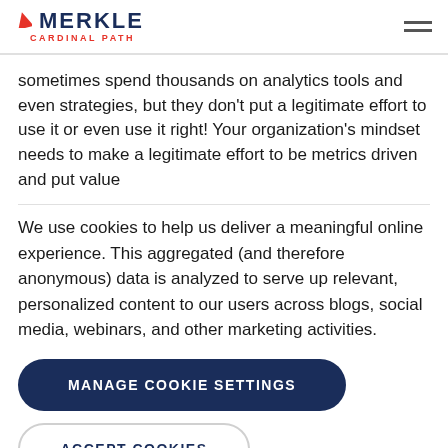Merkle Cardinal Path
sometimes spend thousands on analytics tools and even strategies, but they don't put a legitimate effort to use it or even use it right! Your organization's mindset needs to make a legitimate effort to be metrics driven and put value
We use cookies to help us deliver a meaningful online experience. This aggregated (and therefore anonymous) data is analyzed to serve up relevant, personalized content to our users across blogs, social media, webinars, and other marketing activities.
MANAGE COOKIE SETTINGS
ACCEPT COOKIES